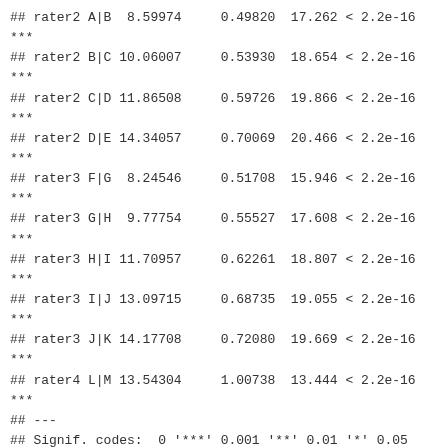## rater2 A|B  8.59974     0.49820  17.262 < 2.2e-16
***
## rater2 B|C 10.06007     0.53930  18.654 < 2.2e-16
***
## rater2 C|D 11.86508     0.59726  19.866 < 2.2e-16
***
## rater2 D|E 14.34057     0.70069  20.466 < 2.2e-16
***
## rater3 F|G  8.24546     0.51708  15.946 < 2.2e-16
***
## rater3 G|H  9.77754     0.55527  17.608 < 2.2e-16
***
## rater3 H|I 11.70957     0.62261  18.807 < 2.2e-16
***
## rater3 I|J 13.09715     0.68735  19.055 < 2.2e-16
***
## rater3 J|K 14.17708     0.72080  19.669 < 2.2e-16
***
## rater4 L|M 13.54304     1.00738  13.444 < 2.2e-16
***
## ---
## Signif. codes:  0 '***' 0.001 '**' 0.01 '*' 0.05
'.' 0.1 ' ' 1
##